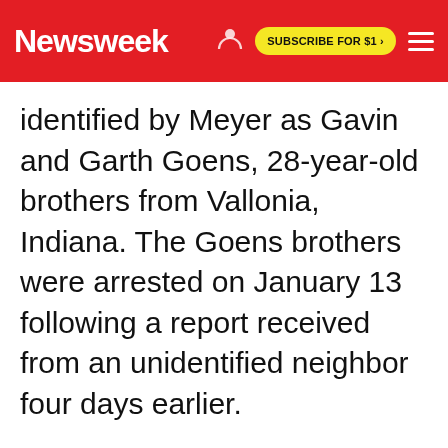Newsweek | SUBSCRIBE FOR $1 >
identified by Meyer as Gavin and Garth Goens, 28-year-old brothers from Vallonia, Indiana. The Goens brothers were arrested on January 13 following a report received from an unidentified neighbor four days earlier.